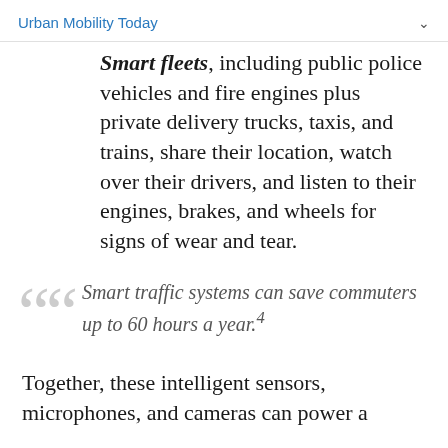Urban Mobility Today
Smart fleets, including public police vehicles and fire engines plus private delivery trucks, taxis, and trains, share their location, watch over their drivers, and listen to their engines, brakes, and wheels for signs of wear and tear.
Smart traffic systems can save commuters up to 60 hours a year.4
Together, these intelligent sensors, microphones, and cameras can power a